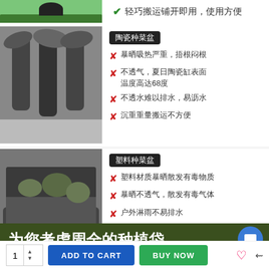[Figure (photo): Green planter/grass scene at top left]
✓ 轻巧搬运铺开即用，使用方便
[Figure (photo): Black and white image of tall dark planters with palm-like plants]
陶瓷种菜盆
✗ 暴晒吸热严重，捂根闷根
✗ 不透气，夏日陶瓷缸表面温度高达68度
✗ 不透水难以排水，易沥水
✗ 沉重重量搬运不方便
[Figure (photo): Black and white image of long rectangular plastic planter with leafy plants]
塑料种菜盆
✗ 塑料材质暴晒散发有毒物质
✗ 暴晒不透气，散发有毒气体
✗ 户外淋雨不易排水
✗ 不易安装和使用，价格昂贵
Click to Translate Chinese
为您考虑周全的种植袋
1   ADD TO CART   BUY NOW